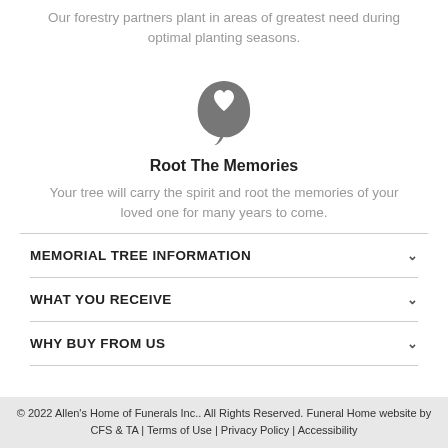Our forestry partners plant in areas of greatest need during optimal planting seasons.
[Figure (illustration): A leaf icon with a heart shape cut out of it, in dark gray]
Root The Memories
Your tree will carry the spirit and root the memories of your loved one for many years to come.
MEMORIAL TREE INFORMATION
WHAT YOU RECEIVE
WHY BUY FROM US
© 2022 Allen's Home of Funerals Inc.. All Rights Reserved. Funeral Home website by CFS & TA | Terms of Use | Privacy Policy | Accessibility